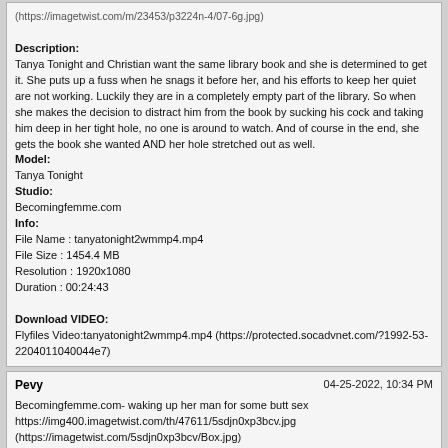(https://imagetwist.com/...jpg)
Description:
Tanya Tonight and Christian want the same library book and she is determined to get it. She puts up a fuss when he snags it before her, and his efforts to keep her quiet are not working. Luckily they are in a completely empty part of the library. So when she makes the decision to distract him from the book by sucking his cock and taking him deep in her tight hole, no one is around to watch. And of course in the end, she gets the book she wanted AND her hole stretched out as well.
Model:
Tanya Tonight
Studio:
Becomingfemme.com
Info:
File Name : tanyatonight2wmmp4.mp4
File Size : 1454.4 MB
Resolution : 1920x1080
Duration : 00:24:43

Download VIDEO:
Flyfiles Video:tanyatonight2wmmp4.mp4 (https://protected.socadvnet.com/?1992-53-2204011040044e7)
Pevy
04-25-2022, 10:34 PM
Becomingfemme.com- waking up her man for some butt sex
https://img400.imagetwist.com/th/47611/5sdjn0xp3bcv.jpg (https://imagetwist.com/5sdjn0xp3bcv/Box.jpg)
https://img202.imagetwist.com/th/47611/ee5g77whw11h.jpg (https://imagetwist.com/ee5g77whw11h/TtnznAE.jpg)

Description:
beautiful cam model Erica Cherry is one horny CD girl. She wakes up poor Christian while he is trying to sleep and attacks his cock with her mouth. She implores him to fuck her tight hole and he happily obliges by filling her up in every position. This stunning crossdresser knows that at the end of him fucking